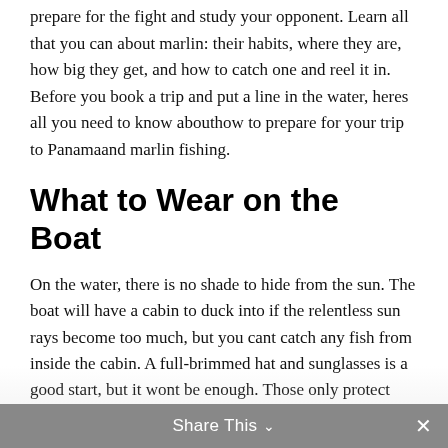prepare for the fight and study your opponent. Learn all that you can about marlin: their habits, where they are, how big they get, and how to catch one and reel it in. Before you book a trip and put a line in the water, heres all you need to know abouthow to prepare for your trip to Panamaand marlin fishing.
What to Wear on the Boat
On the water, there is no shade to hide from the sun. The boat will have a cabin to duck into if the relentless sun rays become too much, but you cant catch any fish from inside the cabin. A full-brimmed hat and sunglasses is a good start, but it wont be enough. Those only protect you from the sun overhead. The rays bounce off the water and get you from below too. Wear loose, lightweight clothing so you can feel any breeze that kicks up. Any part of you that is exposed will need protecting
Share This ∨  ✕